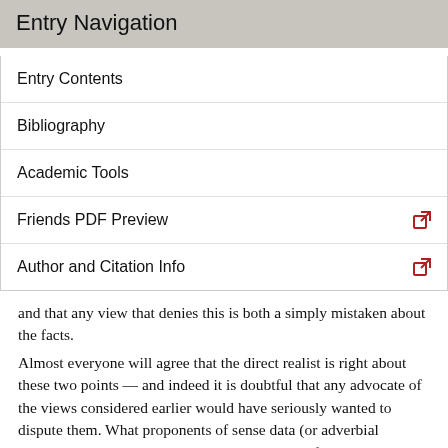Entry Navigation
Entry Contents
Bibliography
Academic Tools
Friends PDF Preview
Author and Citation Info
and that any view that denies this is both a simply mistaken about the facts.
Almost everyone will agree that the direct realist is right about these two points — and indeed it is doubtful that any advocate of the views considered earlier would have seriously wanted to dispute them. What proponents of sense data (or adverbial contents) will say, however, is that these points fail to show that the perceptual awareness of material objects is direct or immediate in the sense discussed earlier: no tendency to show that material objects (as common-sensically understood) are literally